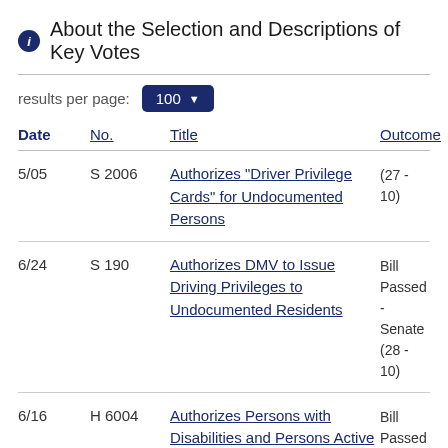About the Selection and Descriptions of Key Votes
results per page: 100
| Date | No. | Title | Outcome |
| --- | --- | --- | --- |
| 5/05 | S 2006 | Authorizes "Driver Privilege Cards" for Undocumented Persons | (27 - 10) |
| 6/24 | S 190 | Authorizes DMV to Issue Driving Privileges to Undocumented Residents | Bill Passed - Senate (28 - 10) |
| 6/16 | H 6004 | Authorizes Persons with Disabilities and Persons Active in the Military to | Bill Passed - House (48 - 17) |